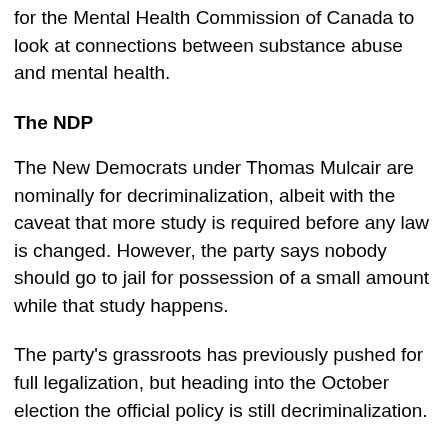for the Mental Health Commission of Canada to look at connections between substance abuse and mental health.
The NDP
The New Democrats under Thomas Mulcair are nominally for decriminalization, albeit with the caveat that more study is required before any law is changed. However, the party says nobody should go to jail for possession of a small amount while that study happens.
The party's grassroots has previously pushed for full legalization, but heading into the October election the official policy is still decriminalization.
The Liberals